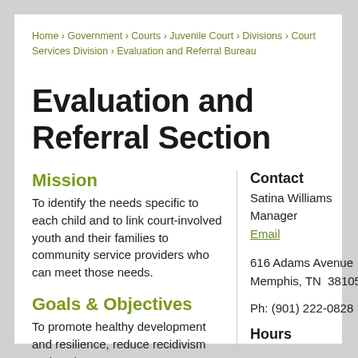Home › Government › Courts › Juvenile Court › Divisions › Court Services Division › Evaluation and Referral Bureau
Evaluation and Referral Section
Mission
To identify the needs specific to each child and to link court-involved youth and their families to community service providers who can meet those needs.
Contact
Satina Williams
Manager
Email
616 Adams Avenue
Memphis, TN  38105
Ph: (901) 222-0828
Goals & Objectives
To promote healthy development and resilience, reduce recidivism and assist
Hours